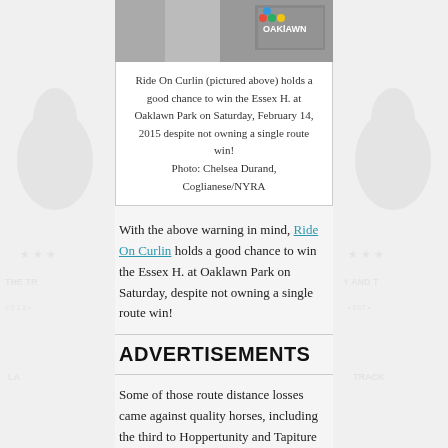[Figure (photo): Partially visible photo of a person at Oaklawn Park, cropped at top]
Ride On Curlin (pictured above) holds a good chance to win the Essex H. at Oaklawn Park on Saturday, February 14, 2015 despite not owning a single route win!
Photo: Chelsea Durand, Coglianese/NYRA
With the above warning in mind, Ride On Curlin holds a good chance to win the Essex H. at Oaklawn Park on Saturday, despite not owning a single route win!
ADVERTISEMENTS
Some of those route distance losses came against quality horses, including the third to Hoppertunity and Tapiture in last year's G2 Rebel on this racetrack. Hoppertunity became injured before the Derby and went on the shelf, but recently won the G2 San Pasqual at Santa Anita and G1 Clark at Churchill Downs. Tapiture finished second to Goldencents in the Breeders' Cup Mile.
After the Rebel, Ride On Curlin finished second in the G1